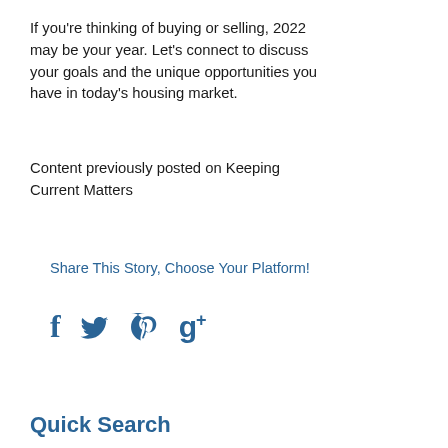If you’re thinking of buying or selling, 2022 may be your year. Let’s connect to discuss your goals and the unique opportunities you have in today’s housing market.
Content previously posted on Keeping Current Matters
Share This Story, Choose Your Platform!
f  🐦  ℗  g+
Quick Search